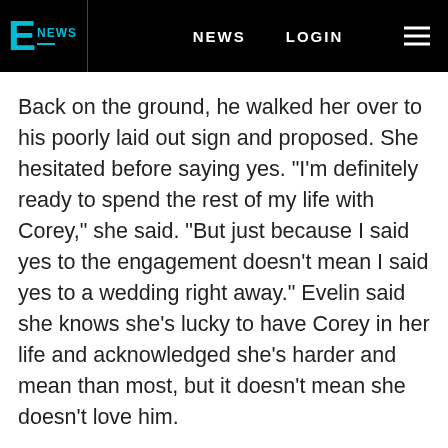E NEWS | NEWS | LOGIN
Back on the ground, he walked her over to his poorly laid out sign and proposed. She hesitated before saying yes. "I'm definitely ready to spend the rest of my life with Corey," she said. "But just because I said yes to the engagement doesn't mean I said yes to a wedding right away." Evelin said she knows she's lucky to have Corey in her life and acknowledged she's harder and mean than most, but it doesn't mean she doesn't love him.
The night ended with a private chef and fireworks on the beach.